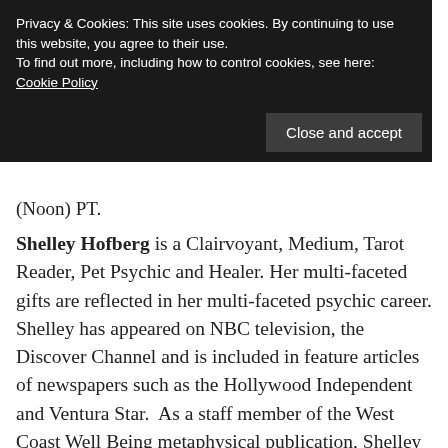Privacy & Cookies: This site uses cookies. By continuing to use this website, you agree to their use.
To find out more, including how to control cookies, see here:
Cookie Policy
Close and accept
(Noon) PT.
Shelley Hofberg is a Clairvoyant, Medium, Tarot Reader, Pet Psychic and Healer. Her multi-faceted gifts are reflected in her multi-faceted psychic career. Shelley has appeared on NBC television, the Discover Channel and is included in feature articles of newspapers such as the Hollywood Independent and Ventura Star. As a staff member of the West Coast Well Being metaphysical publication, Shelley was